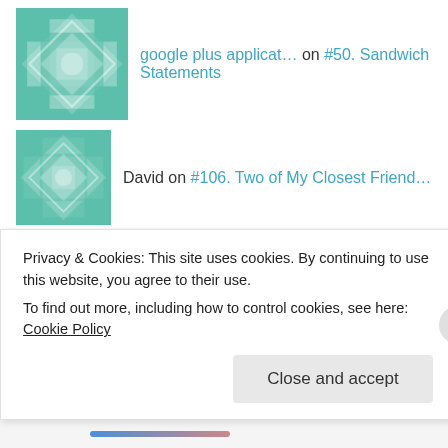google plus applicat… on #50. Sandwich Statements
David on #106. Two of My Closest Friend…
Susan on #106. Two of My Closest Friend…
roygisl on #72. Ten Years Later
Archives
Privacy & Cookies: This site uses cookies. By continuing to use this website, you agree to their use.
To find out more, including how to control cookies, see here: Cookie Policy